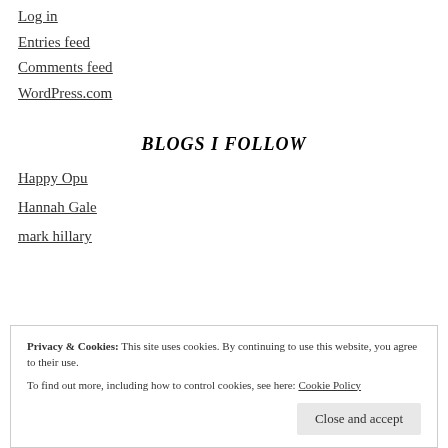Log in
Entries feed
Comments feed
WordPress.com
BLOGS I FOLLOW
Happy Opu
Hannah Gale
mark hillary
Privacy & Cookies: This site uses cookies. By continuing to use this website, you agree to their use.
To find out more, including how to control cookies, see here: Cookie Policy